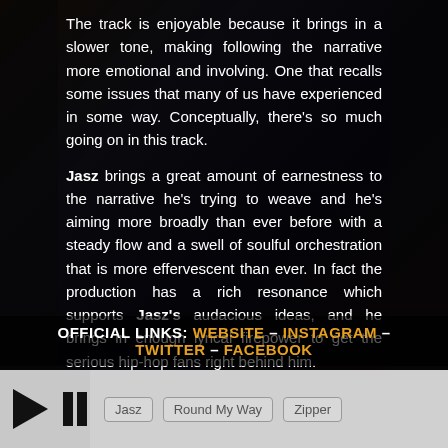The track is enjoyable because it brings in a slower tone, making following the narrative more emotional and involving. One that recalls some issues that many of us have experienced in some way. Conceptually, there's so much going on in this track.
Jasz brings a great amount of earnestness to the narrative he's trying to weave and he's aiming more broadly than ever before with a steady flow and a swell of soulful orchestration that is more effervescent than ever. In fact the production has a rich resonance which supports Jasz's audacious ideas, and he brings in enough lyrical firepower to get the serious hip-hop fans right behind him.
OFFICIAL LINKS: WEBSITE – INSTAGRAM – TWITTER – FACEBOOK